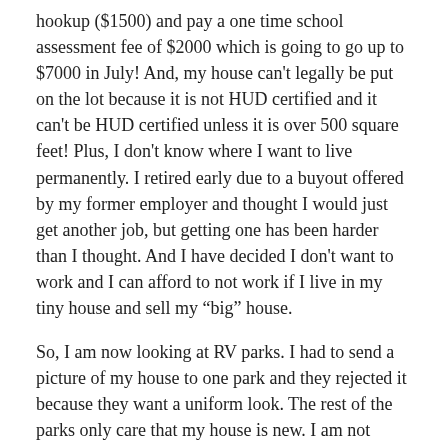hookup ($1500) and pay a one time school assessment fee of $2000 which is going to go up to $7000 in July! And, my house can't legally be put on the lot because it is not HUD certified and it can't be HUD certified unless it is over 500 square feet! Plus, I don't know where I want to live permanently. I retired early due to a buyout offered by my former employer and thought I would just get another job, but getting one has been harder than I thought. And I have decided I don't want to work and I can afford to not work if I live in my tiny house and sell my “big” house.
So, I am now looking at RV parks. I had to send a picture of my house to one park and they rejected it because they want a uniform look. The rest of the parks only care that my house is new. I am not going to live in an RV park forever, just until I figure this out. I am ready to help with